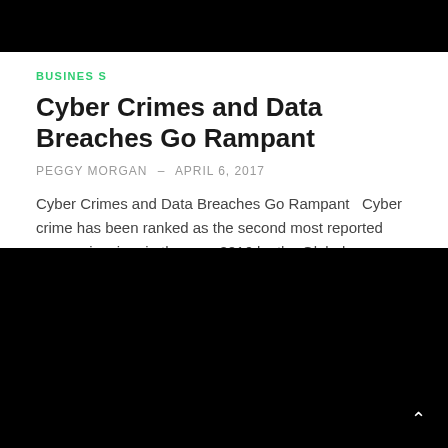[Figure (photo): Black header bar at top of page]
BUSINESS
Cyber Crimes and Data Breaches Go Rampant
PEGGY MORGAN – APRIL 6, 2017
Cyber Crimes and Data Breaches Go Rampant   Cyber crime has been ranked as the second most reported economic crime in the year 2016 by the Global Economic Crime Survey Report 2016. An escalati…
[Figure (photo): Black image block at bottom of page]